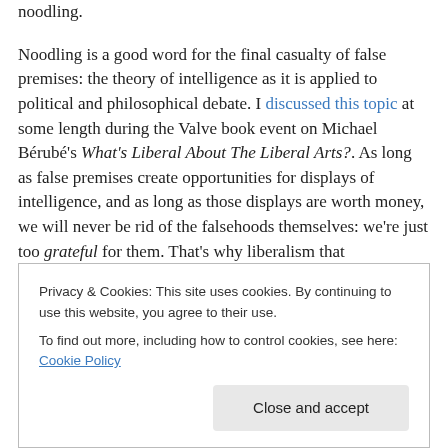noodling.

Noodling is a good word for the final casualty of false premises: the theory of intelligence as it is applied to political and philosophical debate. I discussed this topic at some length during the Valve book event on Michael Bérubé's What's Liberal About The Liberal Arts?. As long as false premises create opportunities for displays of intelligence, and as long as those displays are worth money, we will never be rid of the falsehoods themselves: we're just too grateful for them. That's why liberalism that
Privacy & Cookies: This site uses cookies. By continuing to use this website, you agree to their use.
To find out more, including how to control cookies, see here: Cookie Policy
Close and accept